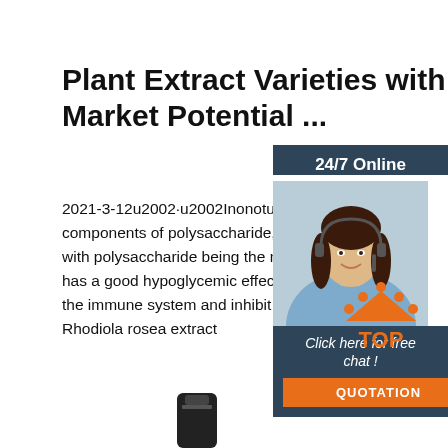Plant Extract Varieties with Great Market Potential ...
2021-3-12u2002·u2002Inonotus obliquus contains components of polysaccharide, fuscoporine, inot with polysaccharide being the most effective com has a good hypoglycemic effect and can effective the immune system and inhibit the proliferation o Rhodiola rosea extract
[Figure (other): Green 'Get Price' button]
[Figure (other): Customer service chat widget with woman wearing headset, '24/7 Online' label, 'Click here for free chat!' text, and orange QUOTATION button]
[Figure (other): Orange and red 'TOP' back-to-top icon with dots above letters]
[Figure (other): Black product bottle/container visible at bottom of page]